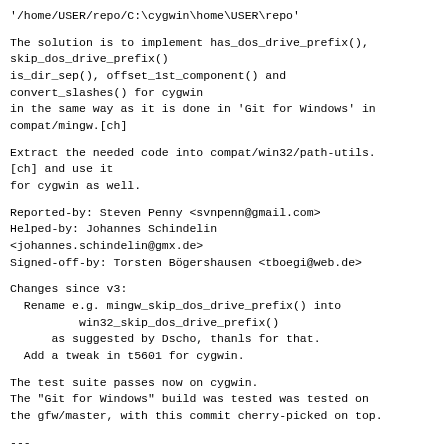'/home/USER/repo/C:\cygwin\home\USER\repo'
The solution is to implement has_dos_drive_prefix(),
skip_dos_drive_prefix()
is_dir_sep(), offset_1st_component() and
convert_slashes() for cygwin
in the same way as it is done in 'Git for Windows' in
compat/mingw.[ch]
Extract the needed code into compat/win32/path-utils.
[ch] and use it
for cygwin as well.
Reported-by: Steven Penny <svnpenn@gmail.com>
Helped-by: Johannes Schindelin
<johannes.schindelin@gmx.de>
Signed-off-by: Torsten Bögershausen <tboegi@web.de>
Changes since v3:
  Rename e.g. mingw_skip_dos_drive_prefix() into
          win32_skip_dos_drive_prefix()
      as suggested by Dscho, thanls for that.
  Add a tweak in t5601 for cygwin.
The test suite passes now on cygwin.
The "Git for Windows" build was tested was tested on
the gfw/master, with this commit cherry-picked on top.
---